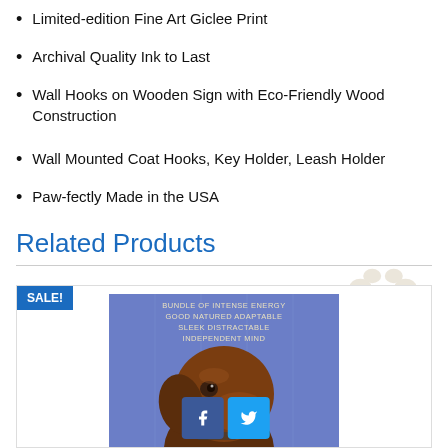Limited-edition Fine Art Giclee Print
Archival Quality Ink to Last
Wall Hooks on Wooden Sign with Eco-Friendly Wood Construction
Wall Mounted Coat Hooks, Key Holder, Leash Holder
Paw-fectly Made in the USA
Related Products
[Figure (photo): Product image of a dog portrait painting on wood with text 'BUNDLE OF INTENSE ENERGY, GOOD NATURED ADAPTABLE, SLEEK DISTRACTABLE, INDEPENDENT MIND' and a chocolate Labrador painted on blue/purple background. Sale badge visible. Facebook and Twitter share icons overlaid.]